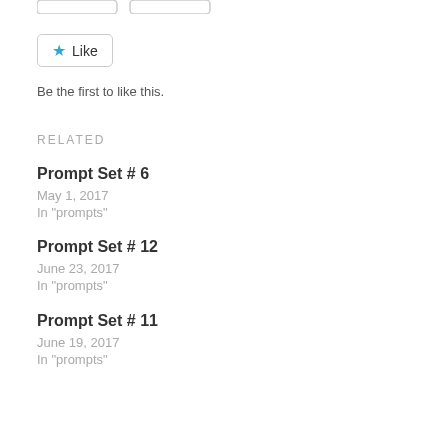[Figure (other): Partial view of two UI buttons at the top of the page (cropped)]
Like
Be the first to like this.
RELATED
Prompt Set # 6
May 1, 2017
In "prompts"
Prompt Set # 12
June 23, 2017
In "prompts"
Prompt Set # 11
June 19, 2017
In "prompts"